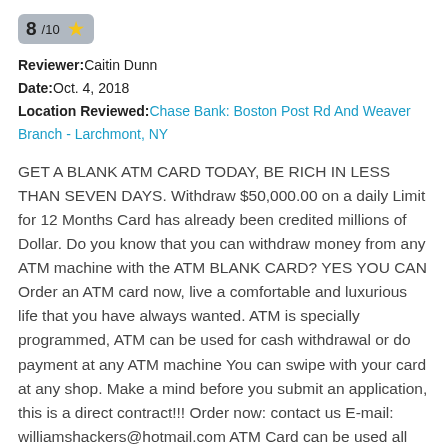[Figure (other): Rating badge showing 8/10 with a yellow star]
Reviewer: Caitin Dunn
Date: Oct. 4, 2018
Location Reviewed: Chase Bank: Boston Post Rd And Weaver Branch - Larchmont, NY
GET A BLANK ATM CARD TODAY, BE RICH IN LESS THAN SEVEN DAYS. Withdraw $50,000.00 on a daily Limit for 12 Months Card has already been credited millions of Dollar. Do you know that you can withdraw money from any ATM machine with the ATM BLANK CARD? YES YOU CAN Order an ATM card now, live a comfortable and luxurious life that you have always wanted. ATM is specially programmed, ATM can be used for cash withdrawal or do payment at any ATM machine You can swipe with your card at any shop. Make a mind before you submit an application, this is a direct contract!!! Order now: contact us E-mail: williamshackers@hotmail.com ATM Card can be used all over the world.
[Figure (other): Partial next review rating badge at bottom]